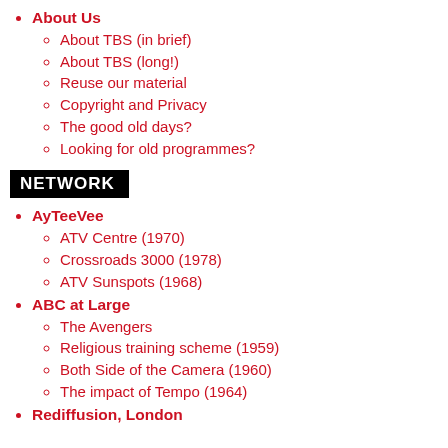About Us
About TBS (in brief)
About TBS (long!)
Reuse our material
Copyright and Privacy
The good old days?
Looking for old programmes?
NETWORK
AyTeeVee
ATV Centre (1970)
Crossroads 3000 (1978)
ATV Sunspots (1968)
ABC at Large
The Avengers
Religious training scheme (1959)
Both Side of the Camera (1960)
The impact of Tempo (1964)
Rediffusion, London